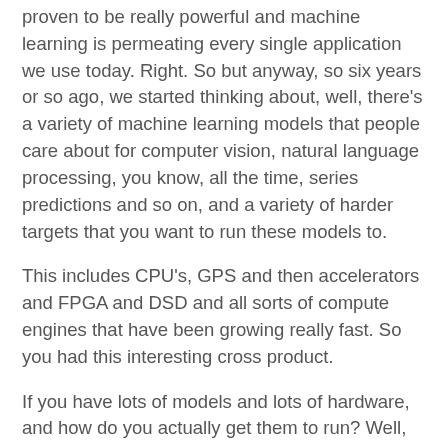proven to be really powerful and machine learning is permeating every single application we use today. Right. So but anyway, so six years or so ago, we started thinking about, well, there's a variety of machine learning models that people care about for computer vision, natural language processing, you know, all the time, series predictions and so on, and a variety of harder targets that you want to run these models to.
This includes CPU's, GPS and then accelerators and FPGA and DSD and all sorts of compute engines that have been growing really fast. So you had this interesting cross product.
If you have lots of models and lots of hardware, and how do you actually get them to run? Well, where you need them to run, that includes the cloud, the edge, you know, implantable devices, you know, with smart cameras, all of these things. Right. So and one thing that's interesting to